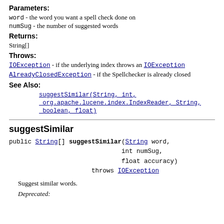Parameters:
word - the word you want a spell check done on
numSug - the number of suggested words
Returns:
String[]
Throws:
IOException - if the underlying index throws an IOException
AlreadyClosedException - if the Spellchecker is already closed
See Also:
suggestSimilar(String, int, org.apache.lucene.index.IndexReader, String, boolean, float)
suggestSimilar
public String[] suggestSimilar(String word,
                              int numSug,
                              float accuracy)
                    throws IOException
Suggest similar words.
Deprecated: